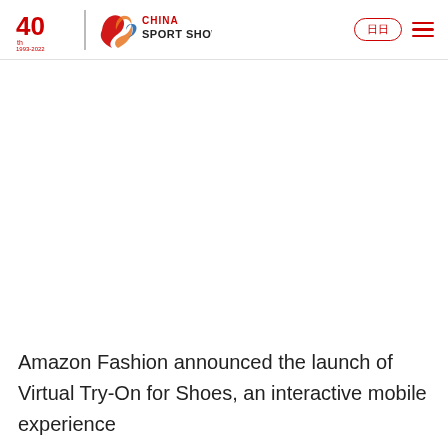China Sport Show 40th 1993-2022 | [logo] [language button] [menu]
Amazon Fashion announced the launch of Virtual Try-On for Shoes, an interactive mobile experience